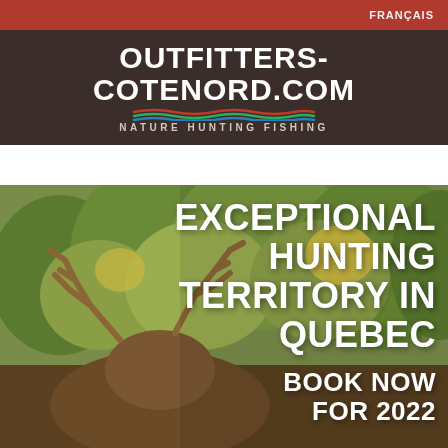FRANÇAIS
OUTFITTERS-COTENORD.COM NATURE HUNTING FISHING
[Figure (logo): Outfitters-Cotenord.com logo with wavy lines in red, green, and blue, subtitle: NATURE HUNTING FISHING]
[Figure (photo): A large bull moose with wide antlers standing in front of green and yellow foliage, with overlaid text: EXCEPTIONAL HUNTING TERRITORY IN QUEBEC and BOOK NOW FOR 2022]
EXCEPTIONAL HUNTING TERRITORY IN QUEBEC
BOOK NOW FOR 2022